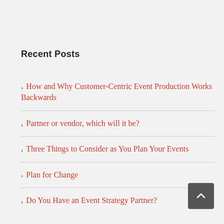Recent Posts
How and Why Customer-Centric Event Production Works Backwards
Partner or vendor, which will it be?
Three Things to Consider as You Plan Your Events
Plan for Change
Do You Have an Event Strategy Partner?